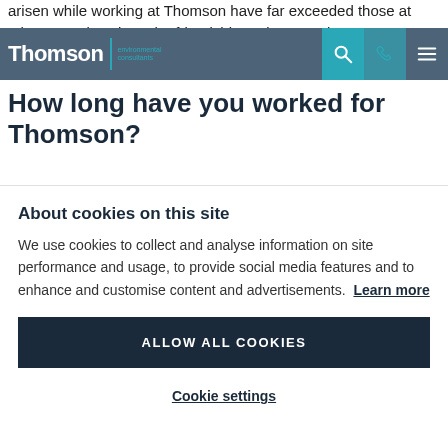arisen while working at Thomson have far exceeded those at other consultancies. The friendship and respect between employees is also something I have not found elsewhere.
[Figure (screenshot): Thomson Environmental Consultants navigation bar with logo, search icon, phone icon, and hamburger menu on a dark blue-grey background]
How long have you worked for Thomson?
About cookies on this site
We use cookies to collect and analyse information on site performance and usage, to provide social media features and to enhance and customise content and advertisements. Learn more
ALLOW ALL COOKIES
Cookie settings